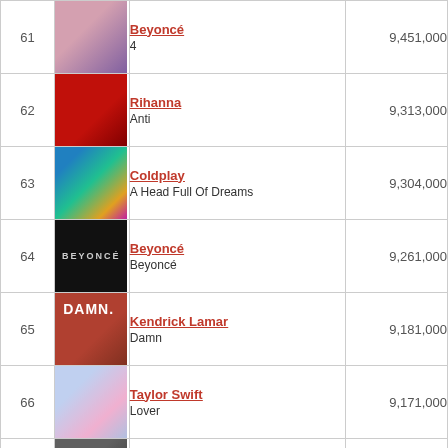| # | Art | Artist / Album | Streams |
| --- | --- | --- | --- |
| 61 | [img] | Beyoncé
4 | 9,451,000 |
| 62 | [img] | Rihanna
Anti | 9,313,000 |
| 63 | [img] | Coldplay
A Head Full Of Dreams | 9,304,000 |
| 64 | [img] | Beyoncé
Beyoncé | 9,261,000 |
| 65 | [img] | Kendrick Lamar
Damn | 9,181,000 |
| 66 | [img] | Taylor Swift
Lover | 9,171,000 |
| 67 | [img] | Lady Gaga & Bradley Cooper
A Star Is Born | TOP |
| 68 | [img] | Shawn Mendes
Illuminate | 8,792,000 |